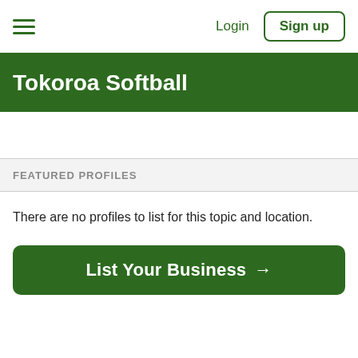Login  Sign up
Tokoroa Softball
FEATURED PROFILES
There are no profiles to list for this topic and location.
List Your Business →